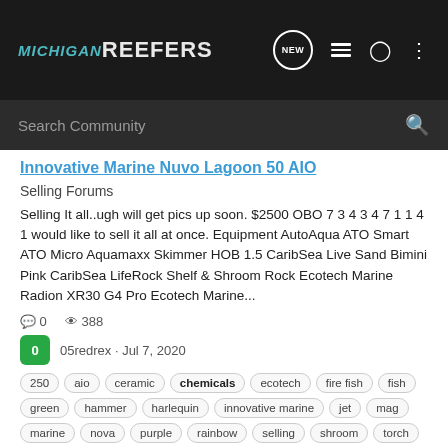MICHIGAN REEFERS
Search Community
Innovative Marine Nuvo Lagoon 50 AIO
Selling Forums
Selling It all..ugh will get pics up soon. $2500 OBO 7 3 4 3 4 7 1 1 4 1 would like to sell it all at once. Equipment AutoAqua ATO Smart ATO Micro Aquamaxx Skimmer HOB 1.5 CaribSea Live Sand Bimini Pink CaribSea LifeRock Shelf & Shroom Rock Ecotech Marine Radion XR30 G4 Pro Ecotech Marine...
0   388
0  05redrex · Jul 7, 2020
250  aio  ceramic  chemicals  ecotech  fire fish  fish  green  hammer  harlequin  innovative marine  jet  mag  marine  nova  purple  rainbow  selling  shroom  torch  tunze  vertex